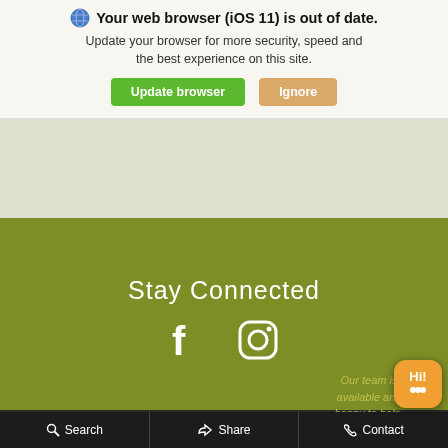[Figure (screenshot): Browser update notification bar with globe icon, bold title 'Your web browser (iOS 11) is out of date.', subtitle text, and two buttons: 'Update browser' (green) and 'Ignore' (tan/orange)]
Stay Connected
[Figure (infographic): Facebook and Instagram social media icons in white on olive green background]
Our team is available and happy to help. How can we help you today?
COPYRIGHT © 2022 HARVEST AUTO
PRIVACY POLICY   CONTACT US   SITEMAP
Search   Share   Contact